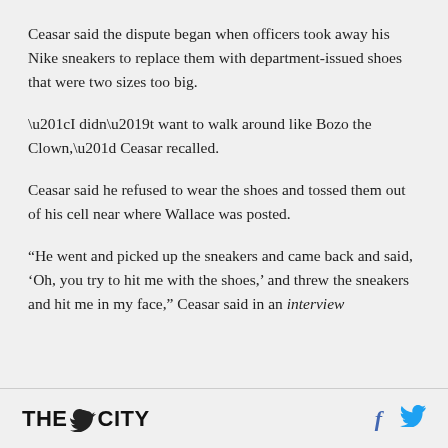Ceasar said the dispute began when officers took away his Nike sneakers to replace them with department-issued shoes that were two sizes too big.
“I didn’t want to walk around like Bozo the Clown,” Ceasar recalled.
Ceasar said he refused to wear the shoes and tossed them out of his cell near where Wallace was posted.
“He went and picked up the sneakers and came back and said, ‘Oh, you try to hit me with the shoes,’ and threw the sneakers and hit me in my face,” Ceasar said in an interview.
THE CITY | social icons: Facebook, Twitter